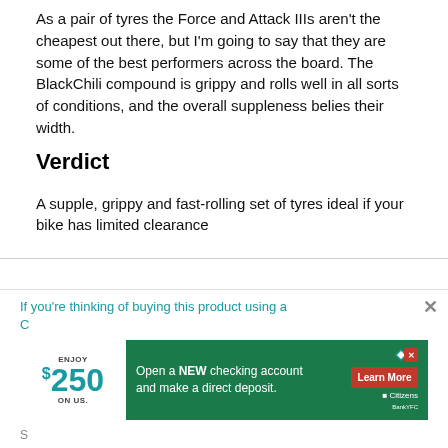As a pair of tyres the Force and Attack IIIs aren't the cheapest out there, but I'm going to say that they are some of the best performers across the board. The BlackChili compound is grippy and rolls well in all sorts of conditions, and the overall suppleness belies their width.
Verdict
A supple, grippy and fast-rolling set of tyres ideal if your bike has limited clearance
If you're thinking of buying this product using a cashback deal why not use the road.cc Top Cashback
[Figure (screenshot): Advertisement: ENJOY $250 ON US banner on left, and green Citizens Bank ad on right with 'Open a NEW checking account and make a direct deposit. Learn More' button]